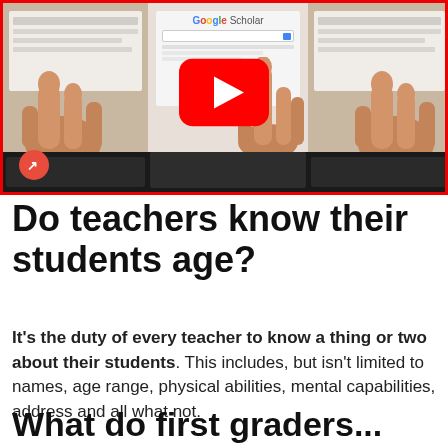[Figure (screenshot): Video thumbnail with red border showing three panels: left and right panels with a hand touching a tablet/phone screen, center panel showing Google Scholar webpage with a finger pointing at screen and a laptop keyboard at bottom. A red YouTube-style play button overlay in the center, and a red BuzzFeed-style badge with a trending arrow in the bottom-left corner.]
Do teachers know their students age?
It’s the duty of every teacher to know a thing or two about their students. This includes, but isn’t limited to names, age range, physical abilities, mental capabilities, address and all what not.
What do first graders...